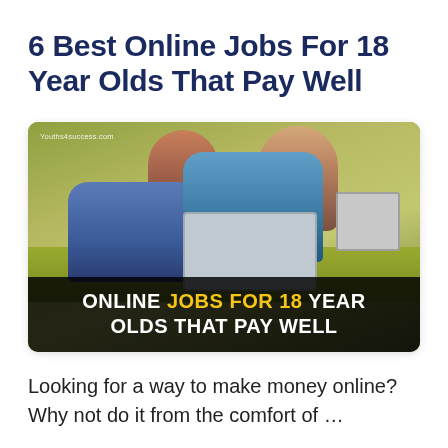6 Best Online Jobs For 18 Year Olds That Pay Well
[Figure (photo): Group of four teenagers sitting on a green couch using laptops, with overlay text reading 'ONLINE JOBS FOR 18 YEAR OLDS THAT PAY WELL' and watermark 'Youths4success.com']
Looking for a way to make money online? Why not do it from the comfort of …